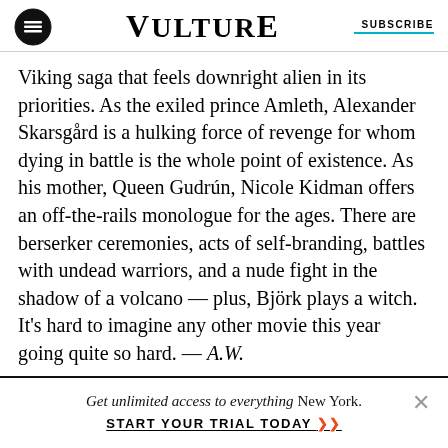VULTURE | SUBSCRIBE
Viking saga that feels downright alien in its priorities. As the exiled prince Amleth, Alexander Skarsgård is a hulking force of revenge for whom dying in battle is the whole point of existence. As his mother, Queen Gudrún, Nicole Kidman offers an off-the-rails monologue for the ages. There are berserker ceremonies, acts of self-branding, battles with undead warriors, and a nude fight in the shadow of a volcano — plus, Björk plays a witch. It's hard to imagine any other movie this year going quite so hard. — A.W.
Get unlimited access to everything New York. START YOUR TRIAL TODAY